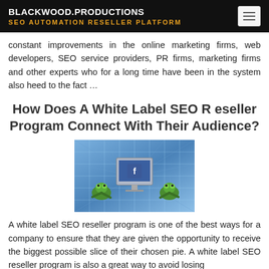BLACKWOOD.PRODUCTIONS | SEO AUTOMATION RESELLER PLATFORM
constant improvements in the online marketing firms, web developers, SEO service providers, PR firms, marketing firms and other experts who for a long time have been in the system also heed to the fact …
How Does A White Label SEO Reseller Program Connect With Their Audience?
[Figure (photo): Photo showing two green frog figures next to a computer monitor displaying social media, set against a grid background.]
A white label SEO reseller program is one of the best ways for a company to ensure that they are given the opportunity to receive the biggest possible slice of their chosen pie. A white label SEO reseller program is also a great way to avoid losing